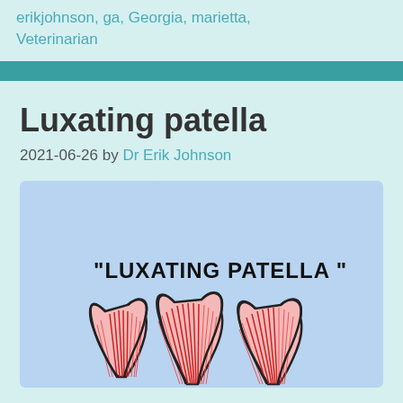erikjohnson, ga, Georgia, marietta, Veterinarian
Luxating patella
2021-06-26 by Dr Erik Johnson
[Figure (illustration): Medical illustration of luxating patella showing three knee joint diagrams with the text 'LUXATING PATELLA' written above them. The joints show muscle tissue in red and pink tones against a light blue cloud-shaped background.]